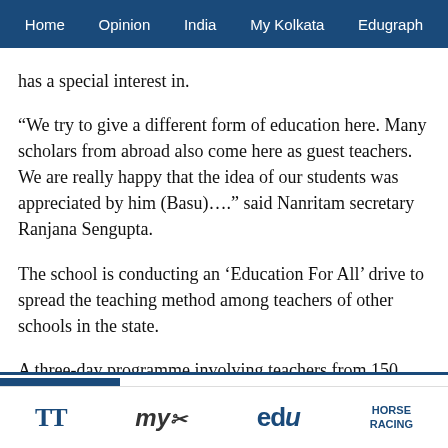Home   Opinion   India   My Kolkata   Edugraph
has a special interest in.
“We try to give a different form of education here. Many scholars from abroad also come here as guest teachers. We are really happy that the idea of our students was appreciated by him (Basu).…” said Nanritam secretary Ranjana Sengupta.
The school is conducting an ‘Education For All’ drive to spread the teaching method among teachers of other schools in the state.
A three-day programme involving teachers from 150 schools from 10 Bengal districts was conducted from Tuesday.
TT   My Kolkata   edu   HORSE RACING